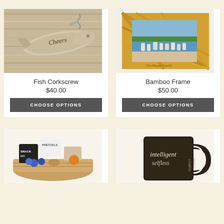[Figure (photo): Fish corkscrew with 'Cheers' engraved on a wooden background]
Fish Corkscrew
$40.00
CHOOSE OPTIONS
[Figure (photo): Bamboo picture frame with a family photo at the beach]
Bamboo Frame
$50.00
CHOOSE OPTIONS
[Figure (photo): Gift basket with pretzels and snacks]
[Figure (photo): Glass mug with words like 'intelligent', 'selfless' printed on it]